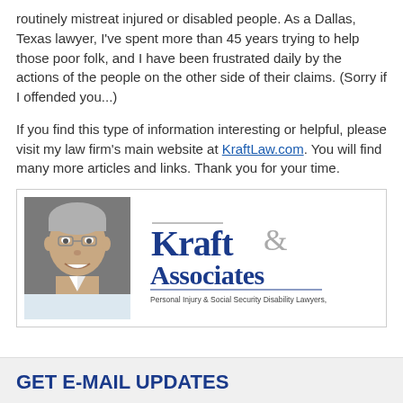routinely mistreat injured or disabled people. As a Dallas, Texas lawyer, I've spent more than 45 years trying to help those poor folk, and I have been frustrated daily by the actions of the people on the other side of their claims. (Sorry if I offended you...)
If you find this type of information interesting or helpful, please visit my law firm's main website at KraftLaw.com. You will find many more articles and links. Thank you for your time.
[Figure (photo): Photo of a smiling older man with glasses and gray hair, next to the Kraft & Associates law firm logo with tagline Personal Injury & Social Security Disability Lawyers, PC]
GET E-MAIL UPDATES